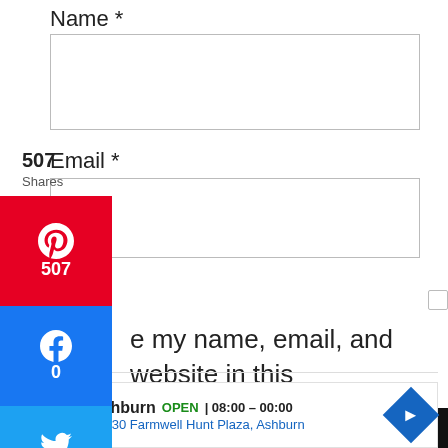Name *
Email *
507 Shares
Save my name, email, and website in this browser for the next time I comment.
POST COMMENT
Ashburn OPEN | 08:00 – 00:00 43930 Farmwell Hunt Plaza, Ashburn